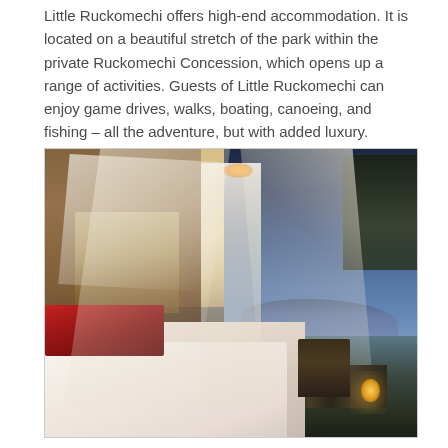Little Ruckomechi offers high-end accommodation. It is located on a beautiful stretch of the park within the private Ruckomechi Concession, which opens up a range of activities. Guests of Little Ruckomechi can enjoy game drives, walks, boating, canoeing, and fishing – all the adventure, but with added luxury.
[Figure (photo): Interior of a luxury safari lodge bedroom at dusk showing a canopied bed with white mosquito netting, red pillows, and a view through open sides to a deck with a lantern and a twilight landscape with mountains and water in the background.]